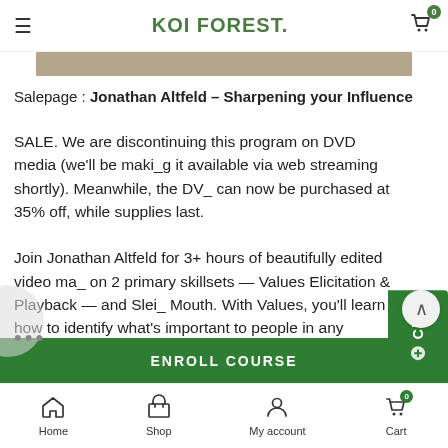KOI FOREST.
Salepage : Jonathan Altfeld – Sharpening your Influence
FINAL SALE. We are discontinuing this program on DVD media (we'll be making it available via web streaming shortly). Meanwhile, the DVD can now be purchased at 35% off, while supplies last.

Join Jonathan Altfeld for 3+ hours of beautifully edited video material on 2 primary skillsets — Values Elicitation & Playback — and Sleight of Mouth. With Values, you'll learn how to identify what's important to people in any context, and bridge yourself, or your product or service, into those values, so that people will see you or your offerings as the ultimate solution to what they're seeking.
ENROLL COURSE
Home  Shop  My account  Cart